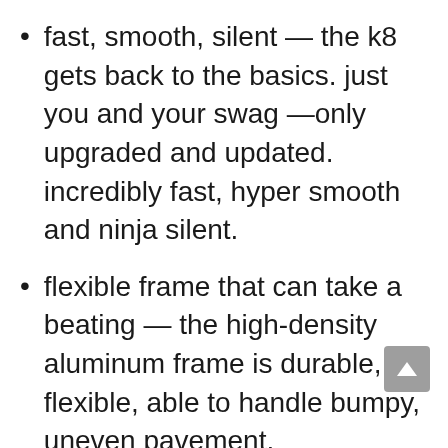fast, smooth, silent — the k8 gets back to the basics. just you and your swag —only upgraded and updated. incredibly fast, hyper smooth and ninja silent.
flexible frame that can take a beating — the high-density aluminum frame is durable, yet flexible, able to handle bumpy, uneven pavement.
xl wheels with precision bearings — extra-large 200mm wheels (approx. 8 in.) with abec-9 wheel bearings deliver a smooth, quiet riding experience, letting you swag farther with every